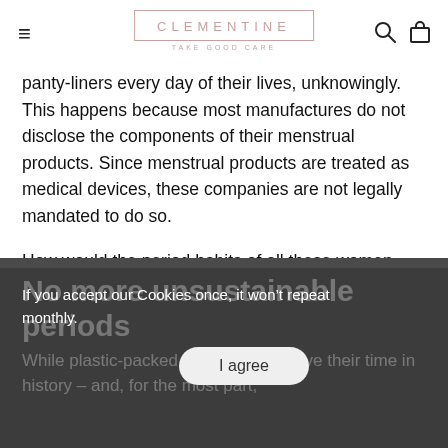CLEMENTINE — TAKE GOOD CARE
panty-liners every day of their lives, unknowingly. This happens because most manufactures do not disclose the components of their menstrual products. Since menstrual products are treated as medical devices, these companies are not legally mandated to do so.
How would the period habits of all these women change if they knew what they're putting in their bodies?
No more unsustainable periods
While plastic-packed products did have their time in history – and, for the most part,
If you accept our Cookies once, it won't repeat monthly.